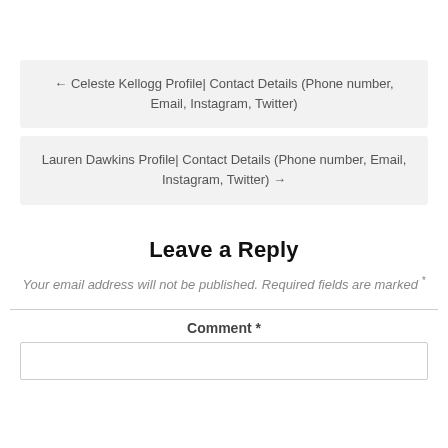← Celeste Kellogg Profile| Contact Details (Phone number, Email, Instagram, Twitter)
Lauren Dawkins Profile| Contact Details (Phone number, Email, Instagram, Twitter) →
Leave a Reply
Your email address will not be published. Required fields are marked *
Comment *